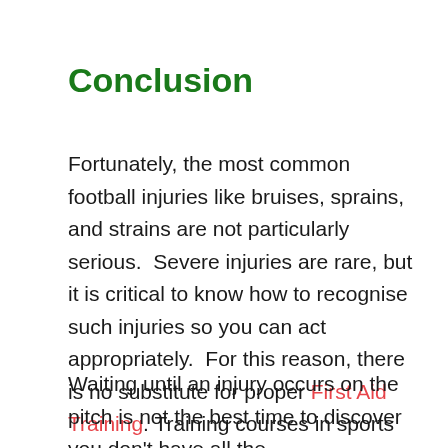Conclusion
Fortunately, the most common football injuries like bruises, sprains, and strains are not particularly serious.  Severe injuries are rare, but it is critical to know how to recognise such injuries so you can act appropriately.  For this reason, there is no substitute for proper First Aid Training. Training courses in sports first aid are widely available.
Waiting until an injury occurs on the pitch is not the best time to discover you don't have all the